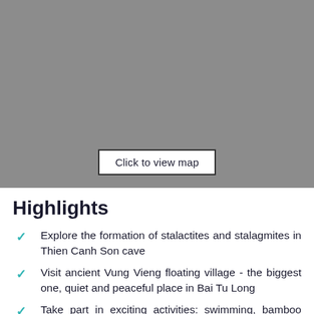[Figure (map): Grey placeholder map area with a 'Click to view map' button overlay]
Highlights
Explore the formation of stalactites and stalagmites in Thien Canh Son cave
Visit ancient Vung Vieng floating village - the biggest one, quiet and peaceful place in Bai Tu Long
Take part in exciting activities: swimming, bamboo boat